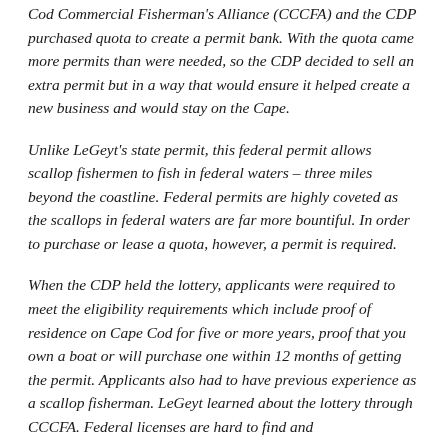Cod Commercial Fisherman's Alliance (CCCFA) and the CDP purchased quota to create a permit bank. With the quota came more permits than were needed, so the CDP decided to sell an extra permit but in a way that would ensure it helped create a new business and would stay on the Cape.
Unlike LeGeyt's state permit, this federal permit allows scallop fishermen to fish in federal waters – three miles beyond the coastline. Federal permits are highly coveted as the scallops in federal waters are far more bountiful. In order to purchase or lease a quota, however, a permit is required.
When the CDP held the lottery, applicants were required to meet the eligibility requirements which include proof of residence on Cape Cod for five or more years, proof that you own a boat or will purchase one within 12 months of getting the permit. Applicants also had to have previous experience as a scallop fisherman. LeGeyt learned about the lottery through CCCFA. Federal licenses are hard to find and